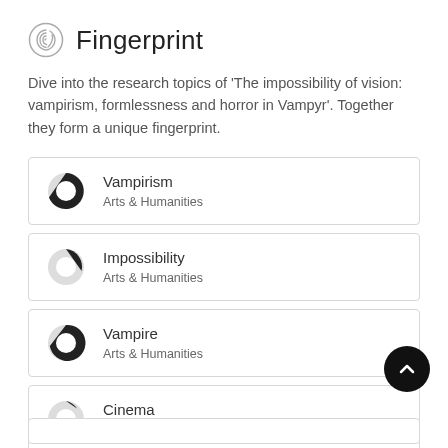Fingerprint
Dive into the research topics of 'The impossibility of vision: vampirism, formlessness and horror in Vampyr'. Together they form a unique fingerprint.
Vampirism — Arts & Humanities
Impossibility — Arts & Humanities
Vampire — Arts & Humanities
Cinema — Arts & Humanities